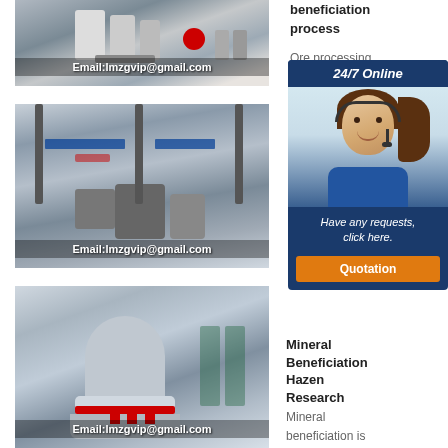[Figure (photo): Industrial machinery with white robotic arms and a red spool, email overlay text]
[Figure (photo): Large manufacturing plant interior with heavy equipment and machinery, email overlay text]
[Figure (photo): Cone crusher machine displayed in a showroom or factory with workers, email overlay text]
beneficiation process
Ore processing plant... has... Ma... Be... Pr... Li... Ho... Mi... Ma... Be... Pr...
[Figure (other): 24/7 Online chat widget with avatar of woman wearing headset, message 'Have any requests, click here.' and Quotation button]
Mineral Beneficiation Hazen Research
Mineral beneficiation is the process of